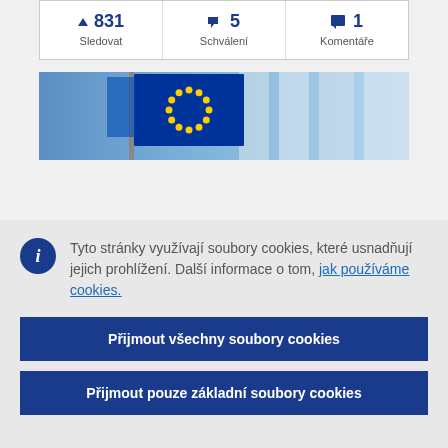| ▲ 831
Sledovat | ◀ 5
Schválení | ■ 1
Komentáře |
[Figure (photo): EU flag waving in front of blurred building columns, blue tones]
Tyto stránky využívají soubory cookies, které usnadňují jejich prohlížení. Další informace o tom, jak používáme cookies.
Přijmout všechny soubory cookies
Přijmout pouze základní soubory cookies